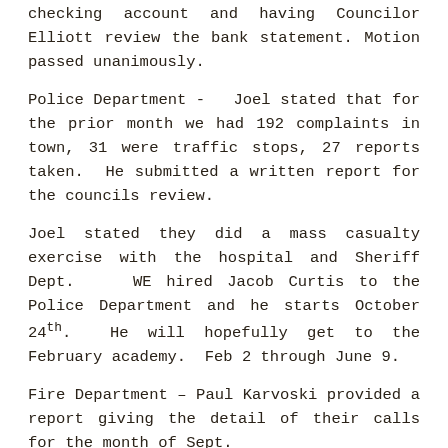checking account and having Councilor Elliott review the bank statement. Motion passed unanimously.
Police Department -  Joel stated that for the prior month we had 192 complaints in town, 31 were traffic stops, 27 reports taken.  He submitted a written report for the councils review.
Joel stated they did a mass casualty exercise with the hospital and Sheriff Dept.   WE hired Jacob Curtis to the Police Department and he starts October 24th.  He will hopefully get to the February academy.  Feb 2 through June 9.
Fire Department – Paul Karvoski provided a report giving the detail of their calls for the month of Sept.
CETRA GRANT RECOMMENDATIONS